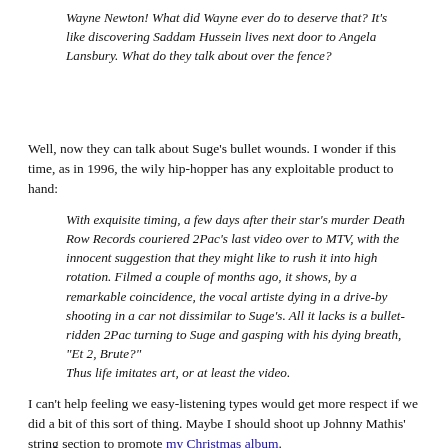Wayne Newton! What did Wayne ever do to deserve that? It's like discovering Saddam Hussein lives next door to Angela Lansbury. What do they talk about over the fence?
Well, now they can talk about Suge's bullet wounds. I wonder if this time, as in 1996, the wily hip-hopper has any exploitable product to hand:
With exquisite timing, a few days after their star's murder Death Row Records couriered 2Pac's last video over to MTV, with the innocent suggestion that they might like to rush it into high rotation. Filmed a couple of months ago, it shows, by a remarkable coincidence, the vocal artiste dying in a drive-by shooting in a car not dissimilar to Suge's. All it lacks is a bullet-ridden 2Pac turning to Suge and gasping with his dying breath, "Et 2, Brute?"
Thus life imitates art, or at least the video.
I can't help feeling we easy-listening types would get more respect if we did a bit of this sort of thing. Maybe I should shoot up Johnny Mathis' string section to promote my Christmas album.